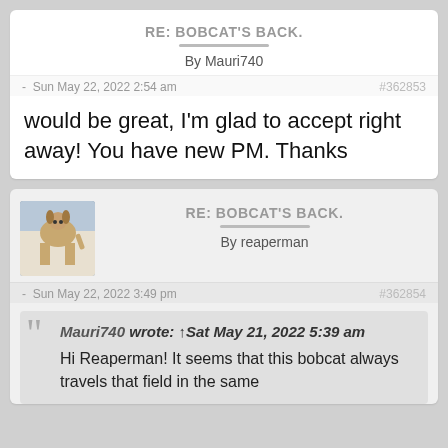RE: BOBCAT'S BACK.
By Mauri740
Sun May 22, 2022 2:54 am
#362853
would be great, I'm glad to accept right away! You have new PM. Thanks
RE: BOBCAT'S BACK.
By reaperman
Sun May 22, 2022 3:49 pm
#362854
Mauri740 wrote: ↑Sat May 21, 2022 5:39 am
Hi Reaperman! It seems that this bobcat always travels that field in the same